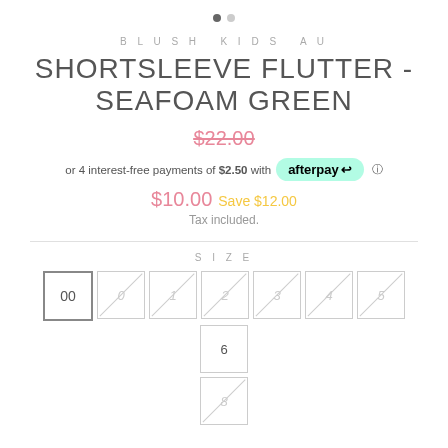[Figure (other): Two pagination dots — one filled dark, one light gray]
BLUSH KIDS AU
SHORTSLEEVE FLUTTER - SEAFOAM GREEN
$22.00 (strikethrough)
or 4 interest-free payments of $2.50 with afterpay
$10.00  Save $12.00
Tax included.
SIZE
00 0 1 2 3 4 5 6 (size options, 00 selected; others crossed out) 8 (second row, crossed out)